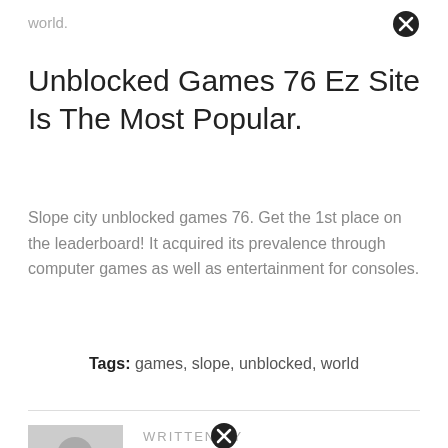world.
Unblocked Games 76 Ez Site Is The Most Popular.
Slope city unblocked games 76. Get the 1st place on the leaderboard! It acquired its prevalence through computer games as well as entertainment for consoles.
Tags: games, slope, unblocked, world
WRITTEN BY